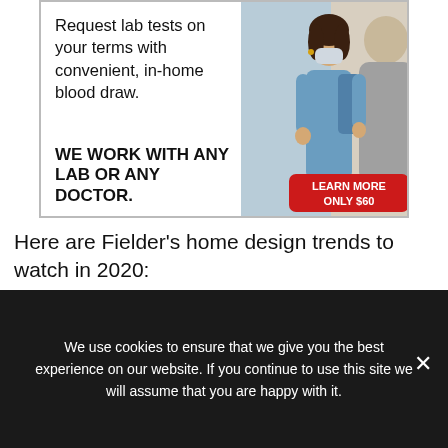[Figure (photo): Advertisement banner showing a nurse in scrubs and mask with a patient. Text reads: 'Request lab tests on your terms with convenient, in-home blood draw. WE WORK WITH ANY LAB OR ANY DOCTOR.' Red button: 'LEARN MORE ONLY $60']
Here are Fielder's home design trends to watch in 2020:
1. Black and white spaces are back. While this dynamic color combo is a classic, it is easily revamped with striking results.
We use cookies to ensure that we give you the best experience on our website. If you continue to use this site we will assume that you are happy with it.